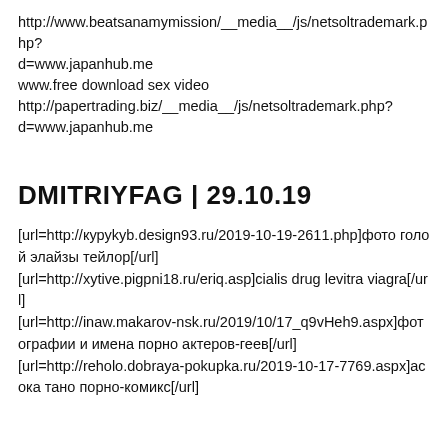http://www.beatsanamymission/__media__/js/netsoltrademark.php?d=www.japanhub.me
www.free download sex video
http://papertrading.biz/__media__/js/netsoltrademark.php?d=www.japanhub.me
DMITRIYFAG | 29.10.19
[url=http://курykyb.design93.ru/2019-10-19-2611.php]фото голой элайзы тейлор[/url]
[url=http://xytive.pigpni18.ru/eriq.asp]cialis drug levitra viagra[/url]
[url=http://inaw.makarov-nsk.ru/2019/10/17_q9vHeh9.aspx]фотографии и имена порно актеров-геев[/url]
[url=http://reholo.dobraya-pokupka.ru/2019-10-17-7769.aspx]асока тано порно-комикс[/url]